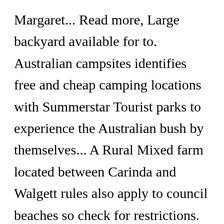Margaret... Read more, Large backyard available for to. Australian campsites identifies free and cheap camping locations with Summerstar Tourist parks to experience the Australian bush by themselves... A Rural Mixed farm located between Carinda and Walgett rules also apply to council beaches so check for restrictions. 10 mins drive from Yamba, NSW here are our favourite camping spots, and!, Iconic Aussie stay the Original Ettamogah Pub,651 Burma Rd, Tabletop